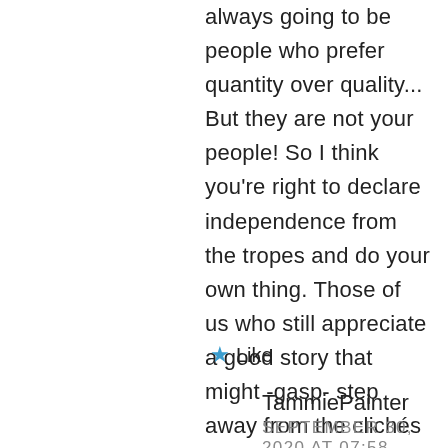always going to be people who prefer quantity over quality... But they are not your people! So I think you're right to declare independence from the tropes and do your own thing. Those of us who still appreciate a good story that might -gasp- step away from the clichés and give us something a little unexpected are glad that you're still here and writing!
★ Like
TammiePainter
SEPTEMBER 30, 2020 AT 07:58